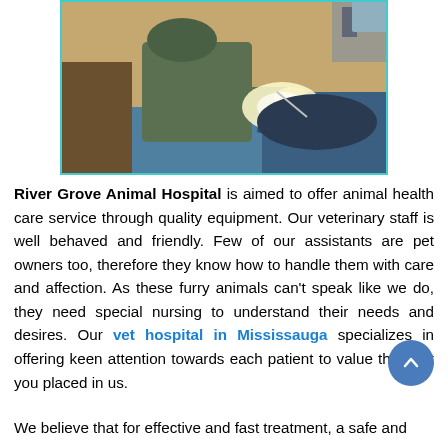[Figure (photo): A veterinarian in surgical scrubs performing a procedure on an animal on an operating table, under bright surgical lighting, in a clinical setting.]
River Grove Animal Hospital is aimed to offer animal health care service through quality equipment. Our veterinary staff is well behaved and friendly. Few of our assistants are pet owners too, therefore they know how to handle them with care and affection. As these furry animals can't speak like we do, they need special nursing to understand their needs and desires. Our vet hospital in Mississauga specializes in offering keen attention towards each patient to value the trust you placed in us.
We believe that for effective and fast treatment, a safe and